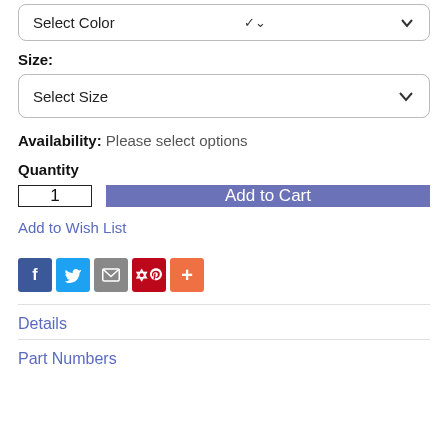Select Color
Size:
Select Size
Availability: Please select options
Quantity
1
Add to Cart
Add to Wish List
[Figure (infographic): Social share icons: Facebook (blue), Twitter (light blue), Email (grey), Pinterest (red), More/Plus (orange)]
Details
Part Numbers